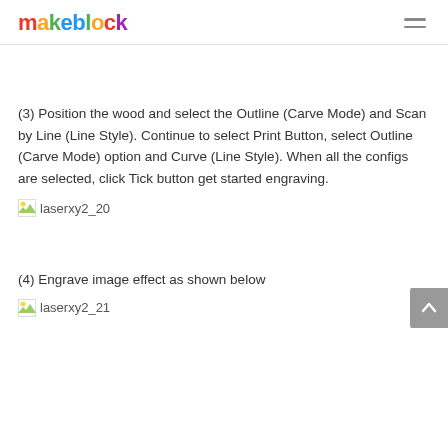makeblock
(3) Position the wood and select the Outline (Carve Mode) and Scan by Line (Line Style). Continue to select Print Button, select Outline (Carve Mode) option and Curve (Line Style). When all the configs are selected, click Tick button get started engraving.
[Figure (photo): Image placeholder: laserxy2_20]
(4) Engrave image effect as shown below
[Figure (photo): Image placeholder: laserxy2_21]